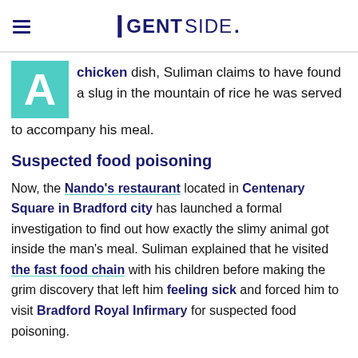GENTSIDE.
A chicken dish, Suliman claims to have found a slug in the mountain of rice he was served to accompany his meal.
Suspected food poisoning
Now, the Nando's restaurant located in Centenary Square in Bradford city has launched a formal investigation to find out how exactly the slimy animal got inside the man's meal. Suliman explained that he visited the fast food chain with his children before making the grim discovery that left him feeling sick and forced him to visit Bradford Royal Infirmary for suspected food poisoning.